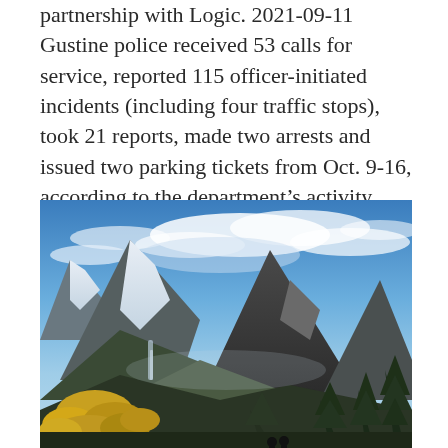partnership with Logic. 2021-09-11 Gustine police received 53 calls for service, reported 115 officer-initiated incidents (including four traffic stops), took 21 reports, made two arrests and issued two parking tickets from Oct. 9-16, according to the department's activity report.
[Figure (photo): Mountain landscape with snow-capped peaks, dramatic clouds, conifer trees in foreground, yellow autumn foliage on the left, and two people standing at viewpoint in the lower right. Alpine scenery suggesting Canadian Rockies or similar mountain range.]